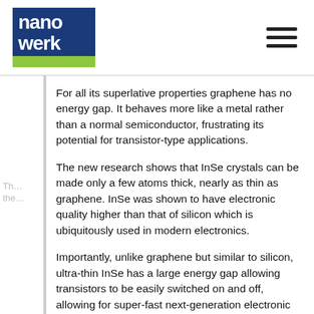nanowerk
For all its superlative properties graphene has no energy gap. It behaves more like a metal rather than a normal semiconductor, frustrating its potential for transistor-type applications.
The new research shows that InSe crystals can be made only a few atoms thick, nearly as thin as graphene. InSe was shown to have electronic quality higher than that of silicon which is ubiquitously used in modern electronics.
Importantly, unlike graphene but similar to silicon, ultra-thin InSe has a large energy gap allowing transistors to be easily switched on and off, allowing for super-fast next-generation electronic devices.
Combining graphene with other new materials, which individually have excellent characteristics complementary to the extraordinary properties of graphene, has resulted in exciting scientific developments and could produce applications as yet